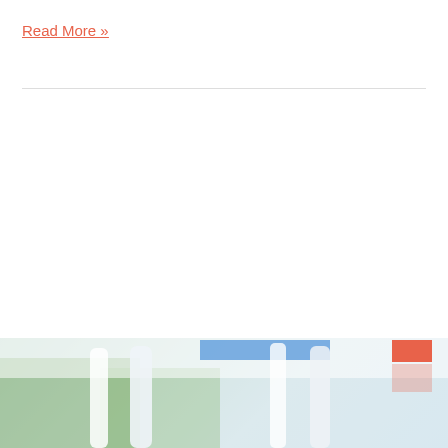Read More »
[Figure (photo): Partial photo at bottom of page showing surfboards or similar tall objects leaning against trees, with blue sky visible, cropped at top of image. An orange/red block element visible in top right of photo area.]